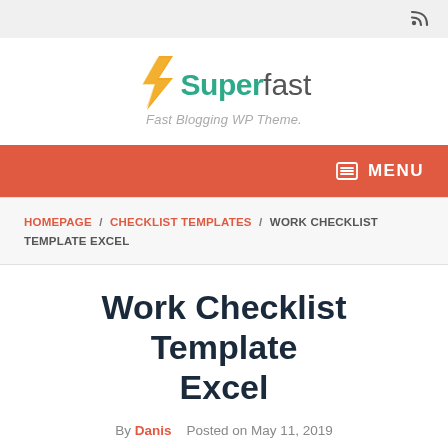RSS icon top right
[Figure (logo): Superfast logo with orange lightning bolt, text 'Superfast' in teal/grey, tagline 'Fast Blogging WP Theme.']
MENU navigation bar
HOMEPAGE / CHECKLIST TEMPLATES / WORK CHECKLIST TEMPLATE EXCEL
Work Checklist Template Excel
By Danis   Posted on May 11, 2019